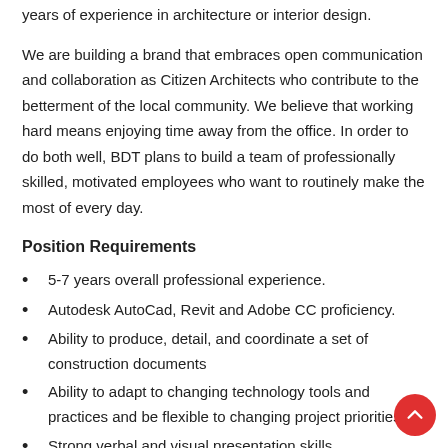years of experience in architecture or interior design.
We are building a brand that embraces open communication and collaboration as Citizen Architects who contribute to the betterment of the local community. We believe that working hard means enjoying time away from the office. In order to do both well, BDT plans to build a team of professionally skilled, motivated employees who want to routinely make the most of every day.
Position Requirements
5-7 years overall professional experience.
Autodesk AutoCad, Revit and Adobe CC proficiency.
Ability to produce, detail, and coordinate a set of construction documents
Ability to adapt to changing technology tools and practices and be flexible to changing project priorities.
Strong verbal and visual presentation skills.